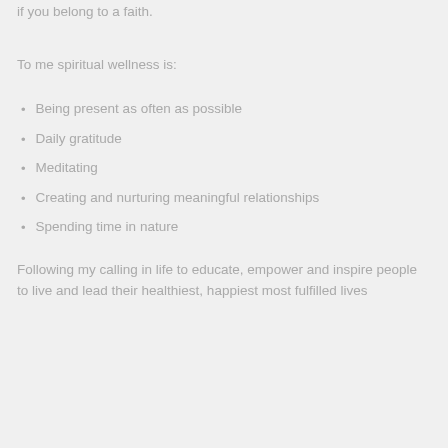if you belong to a faith.
To me spiritual wellness is:
Being present as often as possible
Daily gratitude
Meditating
Creating and nurturing meaningful relationships
Spending time in nature
Following my calling in life to educate, empower and inspire people to live and lead their healthiest, happiest most fulfilled lives